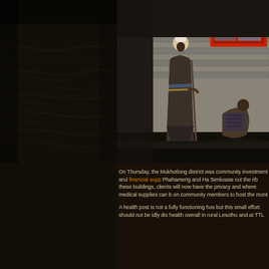[Figure (photo): Left panel: dark, shadowy textured ground/earth with dim lighting. Right panel: A person wearing traditional Basotho blanket and white hat stands outside a stone brick building with red-framed windows; another person crouches nearby on the ground.]
On Thursday, the Mokhotlong district was community investment and financial supp Phahameng and Ha Senkoase cut the rib these buildings, clients will now have the privacy and where medical supplies can b on community members to host the mont
A health post is not a fully functioning hos but this small effort should not be idly dis health overall in rural Lesotho and at TTL